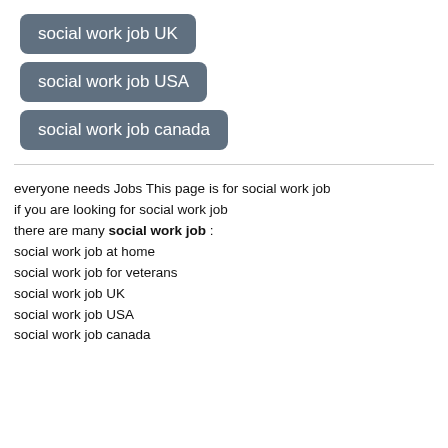social work job UK
social work job USA
social work job canada
everyone needs Jobs This page is for social work job
if you are looking for social work job
there are many social work job :
social work job at home
social work job for veterans
social work job UK
social work job USA
social work job canada